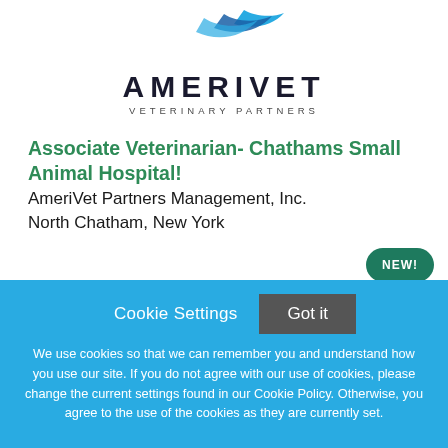[Figure (logo): AmeriVet Veterinary Partners logo with stylized bird/swoosh in blue above the text AMERIVET in large bold letters and VETERINARY PARTNERS in smaller spaced letters]
Associate Veterinarian- Chathams Small Animal Hospital!
AmeriVet Partners Management, Inc.
North Chatham, New York
NEW!
Cookie Settings  Got it
We use cookies so that we can remember you and understand how you use our site. If you do not agree with our use of cookies, please change the current settings found in our Cookie Policy. Otherwise, you agree to the use of the cookies as they are currently set.